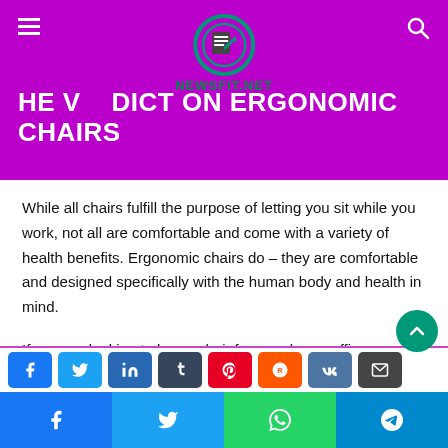THE VERDICT ON ERGONOMIC CHAIRS — newsfit.net
THE VERDICT ON ERGONOMIC CHAIRS
While all chairs fulfill the purpose of letting you sit while you work, not all are comfortable and come with a variety of health benefits. Ergonomic chairs do – they are comfortable and designed specifically with the human body and health in mind.
If you are looking to buy a chair for your home office, ergonomic chairs are the best option available to you as they'll help improve your work efficiency while also taking care of your body.
Social share buttons: Facebook, Twitter, WhatsApp, Telegram